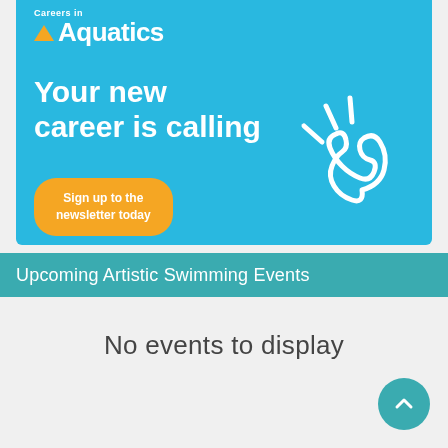[Figure (illustration): Careers in Aquatics advertisement banner with blue background. Shows 'Careers in Aquatics' logo with triangle icon, headline 'Your new career is calling', a yellow rounded button 'Sign up to the newsletter today', and a white phone icon with motion lines on the right.]
Upcoming Artistic Swimming Events
No events to display